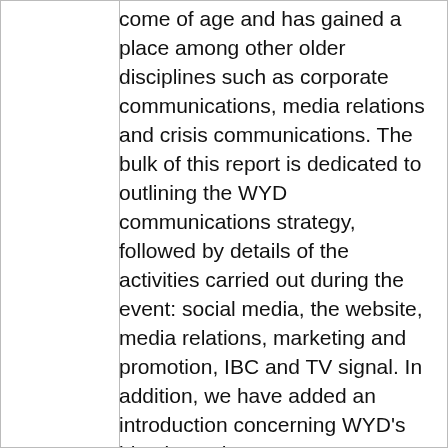come of age and has gained a place among other older disciplines such as corporate communications, media relations and crisis communications. The bulk of this report is dedicated to outlining the WYD communications strategy, followed by details of the activities carried out during the event: social media, the website, media relations, marketing and promotion, IBC and TV signal. In addition, we have added an introduction concerning WYD's identity and management to provide a context. Co-Authors: María José Abad, Daniel Arasa, Patricia Capa de Toca, Borja Ezcurra, Antonio Gallo, Kristen Gardner, María Gil-Casares, Gabriel González-Andrío, Marieta Jaureguizar, Ivo Leahy, Jorge Milán, Montse Pérez, Mariano Rodríguez, Paula Rodríguez, Rafael Rubio, and Javier Sobrino. The editor has added to these reports and